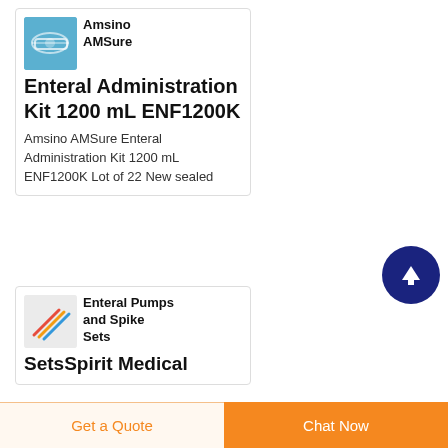[Figure (photo): Product thumbnail for Amsino AMSure Enteral Administration Kit 1200 mL]
Amsino AMSure Enteral Administration Kit 1200 mL ENF1200K
Amsino AMSure Enteral Administration Kit 1200 mL ENF1200K Lot of 22 New sealed
[Figure (photo): Product thumbnail for Enteral Pumps and Spike Sets Spirit Medical]
Enteral Pumps and Spike SetsSpirit Medical
Get a Quote   Chat Now